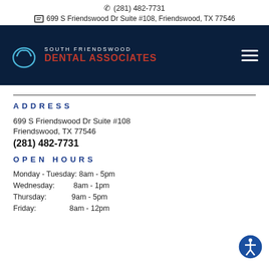☎ (281) 482-7731 | 699 S Friendswood Dr Suite #108, Friendswood, TX 77546
[Figure (logo): South Friendswood Dental Associates logo — tooth icon with text]
ADDRESS
699 S Friendswood Dr Suite #108
Friendswood, TX 77546
(281) 482-7731
OPEN HOURS
Monday - Tuesday: 8am - 5pm
Wednesday: 8am - 1pm
Thursday: 9am - 5pm
Friday: 8am - 12pm